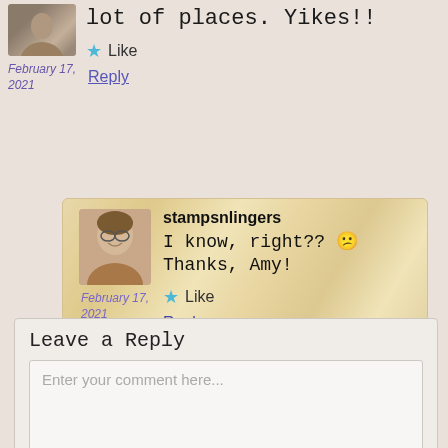lot of places. Yikes!!
February 17, 2021
Like
Reply
stampsnlingers
I know, right?? 😕 Thanks, Amy!
February 17, 2021
Like
Reply
Leave a Reply
Enter your comment here...